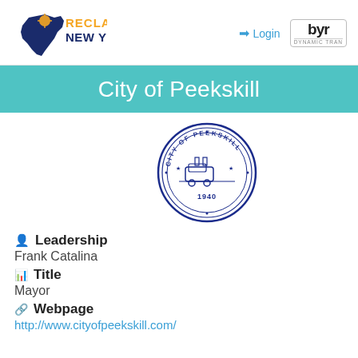[Figure (logo): Reclaim New York logo with New York state silhouette in dark blue and orange sun, text RECLAIM NEW YORK in orange/blue]
Login
[Figure (logo): Dynamic Translation logo abbreviated DYN with DYNAMIC TRAN text below]
City of Peekskill
[Figure (illustration): City of Peekskill official seal, circular blue stamp with city emblem and year 1940]
Leadership
Frank Catalina
Title
Mayor
Webpage
http://www.cityofpeekskill.com/